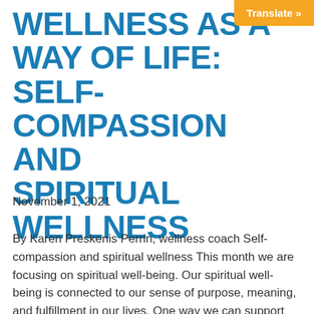WELLNESS AS A WAY OF LIFE: SELF-COMPASSION AND SPIRITUAL WELLNESS
November 1, 2021
By Karen Preskenis Perrin, wellness coach Self-compassion and spiritual wellness This month we are focusing on spiritual well-being. Our spiritual well-being is connected to our sense of purpose, meaning, and fulfillment in our lives. One way we can support our spiritual wellness is by focusing on self-compassion. You may feel compassion